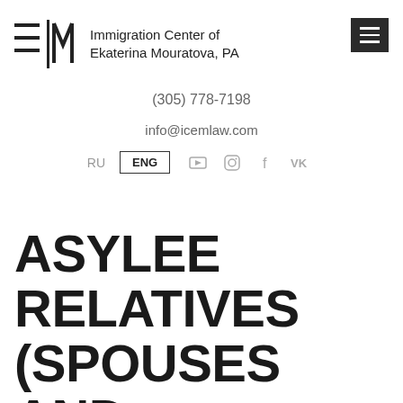Immigration Center of Ekaterina Mouratova, PA
(305) 778-7198
info@icemlaw.com
RU  ENG
ASYLEE RELATIVES (SPOUSES AND CHILDREN)